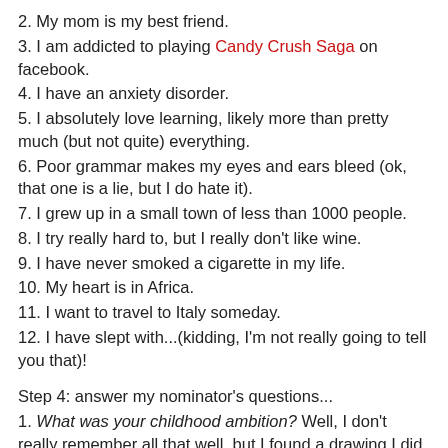2. My mom is my best friend.
3. I am addicted to playing Candy Crush Saga on facebook.
4. I have an anxiety disorder.
5. I absolutely love learning, likely more than pretty much (but not quite) everything.
6. Poor grammar makes my eyes and ears bleed (ok, that one is a lie, but I do hate it).
7. I grew up in a small town of less than 1000 people.
8. I try really hard to, but I really don't like wine.
9. I have never smoked a cigarette in my life.
10. My heart is in Africa.
11. I want to travel to Italy someday.
12. I have slept with...(kidding, I'm not really going to tell you that)!
Step 4: answer my nominator's questions...
1. What was your childhood ambition? Well, I don't really remember all that well, but I found a drawing I did once that was supposed to be of a teacher apparently. I guess that's what I aspired to be.
2. Did you ever wish to have a different name? If, then what's that? Yes, I used to refer to myself as Sheena after